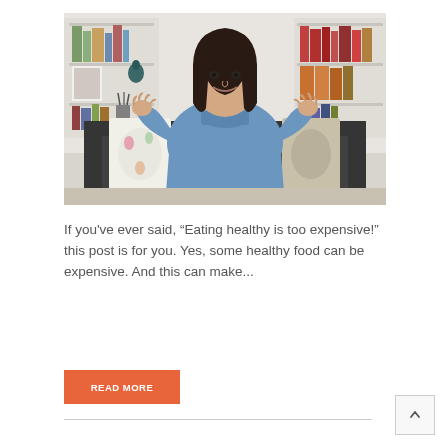[Figure (photo): A woman with dark shoulder-length hair wearing a blue turtleneck sweater, seated on a dark sofa with decorative pillows, gesturing with both hands raised as if explaining something. Bookshelves visible in the background.]
If you've ever said, “Eating healthy is too expensive!” this post is for you. Yes, some healthy food can be expensive. And this can make...
READ MORE